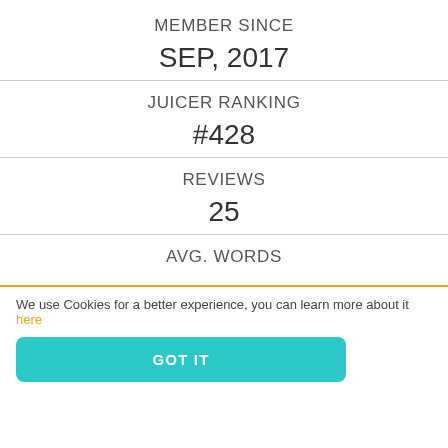MEMBER SINCE
SEP, 2017
JUICER RANKING
#428
REVIEWS
25
AVG. WORDS
We use Cookies for a better experience, you can learn more about it here
GOT IT